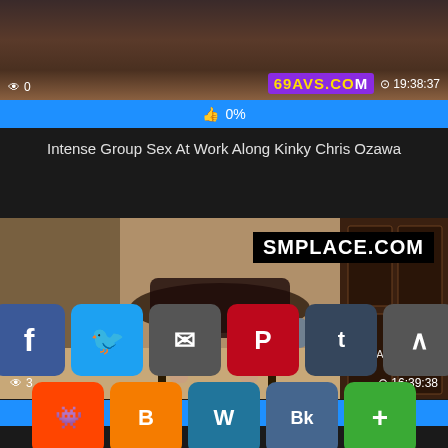[Figure (screenshot): Video thumbnail top - adult video thumbnail with view count badge showing 0, site logo 69AVS.CO, duration 19:38:37]
0%
Intense Group Sex At Work Along Kinky Chris Ozawa
[Figure (screenshot): Video thumbnail bottom - SMPLACE.COM adult video thumbnail with GRAIAS.COM watermark, view count 3, duration 16:39:38]
0%
Dystopia #... n ...ce B...evere Bu... Punishm...s ...o S...ACE.COM